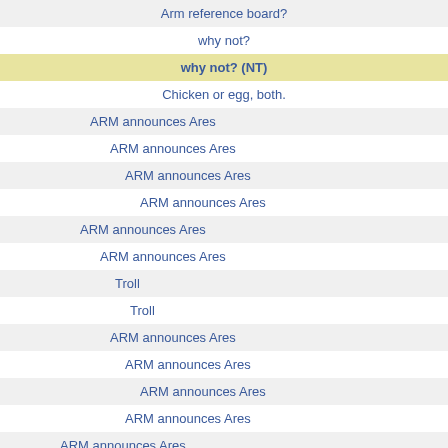Arm reference board?
why not?
why not? (NT)
Chicken or egg, both.
ARM announces Ares
ARM announces Ares
ARM announces Ares
ARM announces Ares
ARM announces Ares
ARM announces Ares
Troll
Troll
ARM announces Ares
ARM announces Ares
ARM announces Ares
ARM announces Ares
ARM announces Ares
expensive
ARM announces Ares
ARM announces Ares
ARM announces Ares
ARM announces Ares